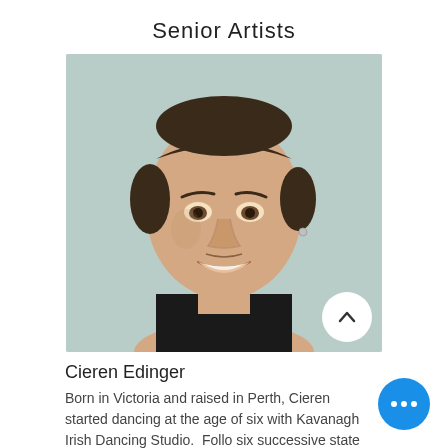Senior Artists
[Figure (photo): Headshot photo of a young man with dark hair pulled back, smiling, wearing a black top, with a light blue-grey background.]
Cieren Edinger
Born in Victoria and raised in Perth, Cieren started dancing at the age of six with Kavanagh Irish Dancing Studio.  Follo six successive state champion titles Cieren